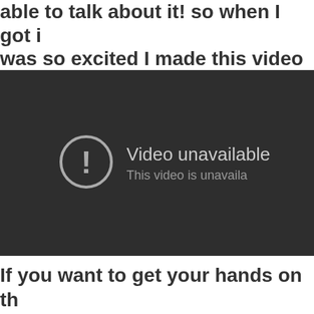able to talk about it! so when I got i was so excited I made this video in m
[Figure (screenshot): Embedded video player showing 'Video unavailable' error message with a circle exclamation icon and text 'This video is unavaila...']
If you want to get your hands on th Urban Decay Eyeshadow (SRP$18) is select Macy's. Or online at sephora